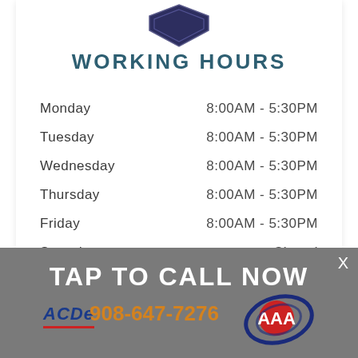[Figure (logo): Dark navy/purple shield or diamond logo shape at top of white card]
WORKING HOURS
| Day | Hours |
| --- | --- |
| Monday | 8:00AM - 5:30PM |
| Tuesday | 8:00AM - 5:30PM |
| Wednesday | 8:00AM - 5:30PM |
| Thursday | 8:00AM - 5:30PM |
| Friday | 8:00AM - 5:30PM |
| Saturday | Closed |
| Sunday | Closed |
TAP TO CALL NOW
908-647-7276
[Figure (logo): ACDe logo with red underline and AAA circular logo overlapping]
X